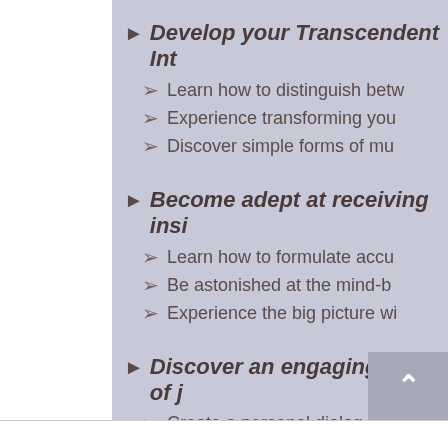Develop your Transcendent Int...
Learn how to distinguish betw...
Experience transforming you...
Discover simple forms of mu...
Become adept at receiving insi...
Learn how to formulate accu...
Be astonished at the mind-b...
Experience the big picture wi...
Discover an engaging form of j...
Create a personal dialog with...
Learn how to “follow the lead...
Go beyond simple yes and n...
Finally have a system to mak...